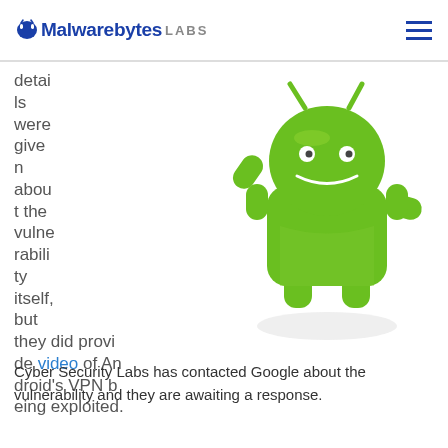Malwarebytes LABS
details were given about the vulnerability itself, but they did provide video of Android's VPN being exploited.
[Figure (illustration): Green Android robot mascot figure, 3D rendered, arm raised in a waving gesture, standing on white background]
Cyber Security Labs has contacted Google about the vulnerability and they are awaiting a response.